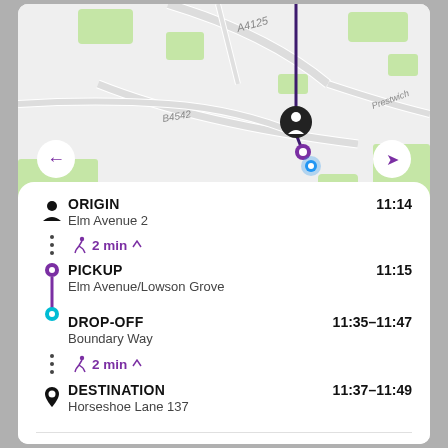[Figure (map): Google Maps view showing roads including A4125 and B4542 near Prestwich area, with a route line drawn in dark purple/blue and location markers. A person/driver icon and a blue location pin are visible on the map.]
ORIGIN — Elm Avenue 2 — 11:14
Walk: 2 min
PICKUP — Elm Avenue/Lowson Grove — 11:15
DROP-OFF — Boundary Way — 11:35–11:47
Walk: 2 min
DESTINATION — Horseshoe Lane 137 — 11:37–11:49
£6.50 (Apple Pay) ▼ Today – 1 Passenger